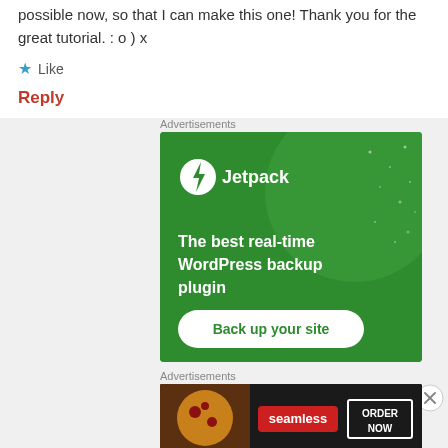possible now, so that I can make this one! Thank you for the great tutorial. : o ) x
★ Like
Reply
Advertisements
[Figure (illustration): Jetpack advertisement — green background with large circle graphic, Jetpack logo (white circle with lightning bolt), text: 'The best real-time WordPress backup plugin', and a white button 'Back up your site']
Advertisements
[Figure (illustration): Seamless food delivery advertisement — dark background with pizza image on left, red Seamless logo in center, white bordered 'ORDER NOW' button on right]